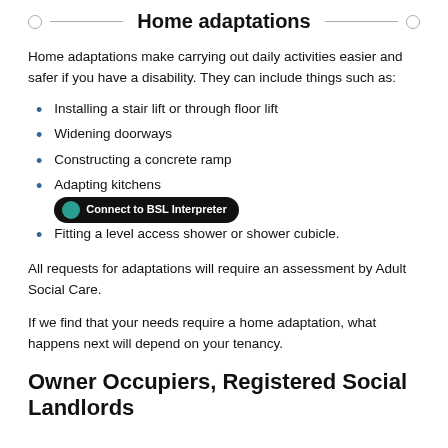Home adaptations
Home adaptations make carrying out daily activities easier and safer if you have a disability. They can include things such as:
Installing a stair lift or through floor lift
Widening doorways
Constructing a concrete ramp
Adapting kitchens
Fitting a level access shower or shower cubicle.
All requests for adaptations will require an assessment by Adult Social Care.
If we find that your needs require a home adaptation, what happens next will depend on your tenancy.
Owner Occupiers, Registered Social Landlords